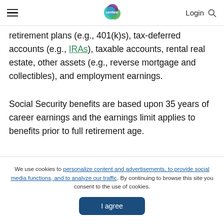CentSai — Login
retirement plans (e.g., 401(k)s), tax-deferred accounts (e.g., IRAs), taxable accounts, rental real estate, other assets (e.g., reverse mortgage and collectibles), and employment earnings.
Social Security benefits are based upon 35 years of career earnings and the earnings limit applies to benefits prior to full retirement age.
We use cookies to personalize content and advertisements, to provide social media functions, and to analyze our traffic. By continuing to browse this site you consent to the use of cookies.